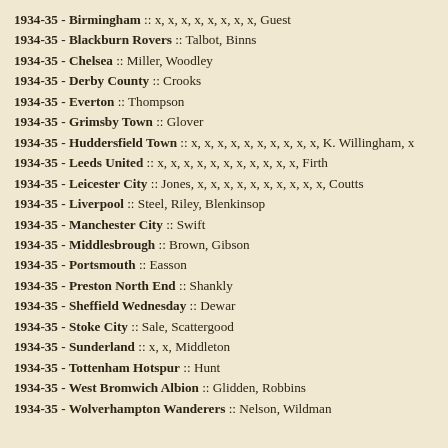1934-35 - Birmingham :: x, x, x, x, x, x, x, x, Guest
1934-35 - Blackburn Rovers :: Talbot, Binns
1934-35 - Chelsea :: Miller, Woodley
1934-35 - Derby County :: Crooks
1934-35 - Everton :: Thompson
1934-35 - Grimsby Town :: Glover
1934-35 - Huddersfield Town :: x, x, x, x, x, x, x, x, x, x, K. Willingham, x
1934-35 - Leeds United :: x, x, x, x, x, x, x, x, x, x, x, Firth
1934-35 - Leicester City :: Jones, x, x, x, x, x, x, x, x, x, x, Coutts
1934-35 - Liverpool :: Steel, Riley, Blenkinsop
1934-35 - Manchester City :: Swift
1934-35 - Middlesbrough :: Brown, Gibson
1934-35 - Portsmouth :: Easson
1934-35 - Preston North End :: Shankly
1934-35 - Sheffield Wednesday :: Dewar
1934-35 - Stoke City :: Sale, Scattergood
1934-35 - Sunderland :: x, x, Middleton
1934-35 - Tottenham Hotspur :: Hunt
1934-35 - West Bromwich Albion :: Glidden, Robbins
1934-35 - Wolverhampton Wanderers :: Nelson, Wildman